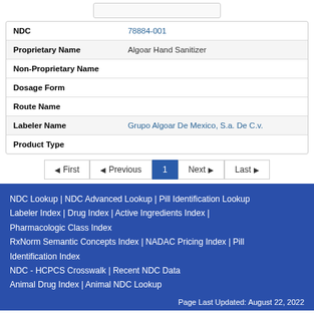| Field | Value |
| --- | --- |
| NDC | 78884-001 |
| Proprietary Name | Algoar Hand Sanitizer |
| Non-Proprietary Name |  |
| Dosage Form |  |
| Route Name |  |
| Labeler Name | Grupo Algoar De Mexico, S.a. De C.v. |
| Product Type |  |
NDC Lookup | NDC Advanced Lookup | Pill Identification Lookup | Labeler Index | Drug Index | Active Ingredients Index | Pharmacologic Class Index | RxNorm Semantic Concepts Index | NADAC Pricing Index | Pill Identification Index | NDC - HCPCS Crosswalk | Recent NDC Data | Animal Drug Index | Animal NDC Lookup
Page Last Updated: August 22, 2022